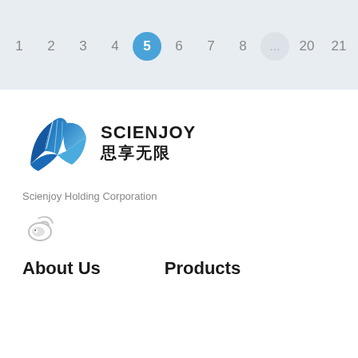[Figure (screenshot): Pagination bar with page numbers 1 2 3 4 5(active/highlighted) 6 7 8 ... 20 21 and navigation arrows on a light blue-grey background]
[Figure (logo): Scienjoy Holding Corporation logo — blue stylized bird/feather wings icon with SCIENJOY text and Chinese characters 思享无限]
Scienjoy Holding Corporation
[Figure (logo): Weibo social media icon in blue/grey]
About Us
Products